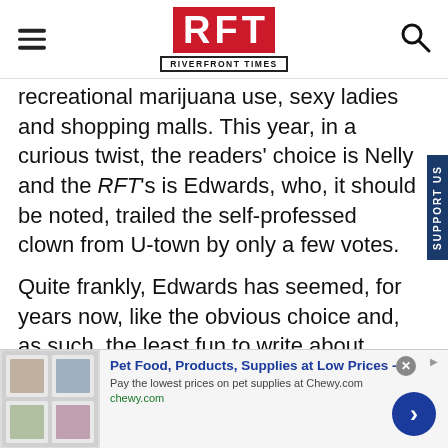RFT RIVERFRONT TIMES
recreational marijuana use, sexy ladies and shopping malls. This year, in a curious twist, the readers' choice is Nelly and the RFT's is Edwards, who, it should be noted, trailed the self-professed clown from U-town by only a few votes.
Quite frankly, Edwards has seemed, for years now, like the obvious choice and, as such, the least fun to write about. There's not the slightest hint of controversy in the decision, and it's not easy to find anyone who's willing to say anythin
[Figure (other): Advertisement banner for Chewy.com pet food and supplies]